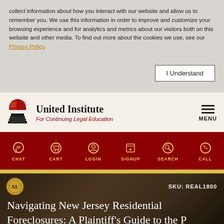collect information about how you interact with our website and allow us to remember you. We use this information in order to improve and customize your browsing experience and for analytics and metrics about our visitors both on this website and other media. To find out more about the cookies we use, see our Privacy Policy.
I Understand
[Figure (logo): United Institute For Continuing Legal Education logo with red book on pedestal]
United Institute For Continuing Legal Education
CHAT CART LOGIN SIGNUP SEARCH CALL
SKU: REAL1800
Navigating New Jersey Residential Foreclosures: A Plaintiff's Guide to the P...